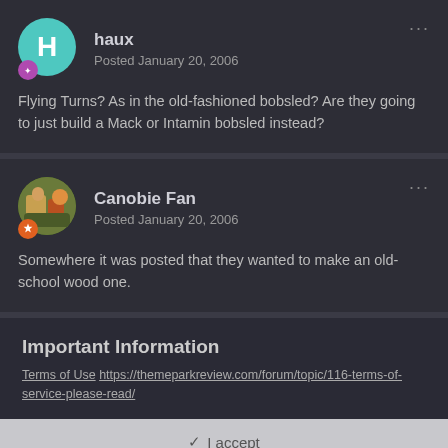haux
Posted January 20, 2006
Flying Turns? As in the old-fashioned bobsled? Are they going to just build a Mack or Intamin bobsled instead?
Canobie Fan
Posted January 20, 2006
Somewhere it was posted that they wanted to make an old-school wood one.
Important Information
Terms of Use https://themeparkreview.com/forum/topic/116-terms-of-service-please-read/
✓ I accept